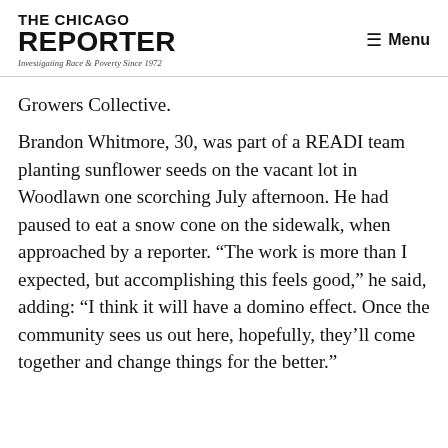THE CHICAGO REPORTER — Investigating Race & Poverty Since 1972 | Menu
Growers Collective.
Brandon Whitmore, 30, was part of a READI team planting sunflower seeds on the vacant lot in Woodlawn one scorching July afternoon. He had paused to eat a snow cone on the sidewalk, when approached by a reporter. “The work is more than I expected, but accomplishing this feels good,” he said, adding: “I think it will have a domino effect. Once the community sees us out here, hopefully, they’ll come together and change things for the better.”